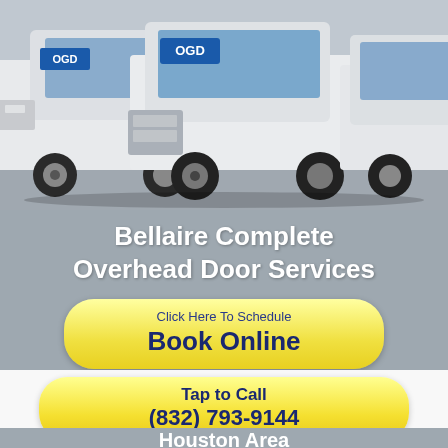[Figure (photo): Fleet of white OGD-branded service trucks parked in a lot, viewed from front angle]
Bellaire Complete Overhead Door Services
Click Here To Schedule
Book Online
Speak To An Expert
(832) 793-9144
Tap to Call
(832) 793-9144
Houston Area